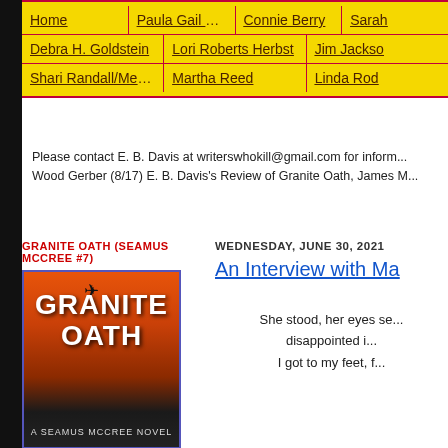Navigation bar with links: Home, Paula Gail Benson, Connie Berry, Sarah, Debra H. Goldstein, Lori Roberts Herbst, Jim Jackson, Shari Randall/Meri Allen, Martha Reed, Linda Rod
Please contact E. B. Davis at writerswhokill@gmail.com for inform... Wood Gerber (8/17) E. B. Davis's Review of Granite Oath, James M...
GRANITE OATH (SEAMUS MCCREE #7)
[Figure (illustration): Book cover of Granite Oath showing a dramatic sunset sky in orange and red with a silhouetted bird in flight. Title text GRANITE OATH in large white letters. Subtitle: A SEAMUS McCREE NOVEL.]
WEDNESDAY, JUNE 30, 2021
An Interview with Ma
She stood, her eyes se... disappointed i... I got to my feet, f...